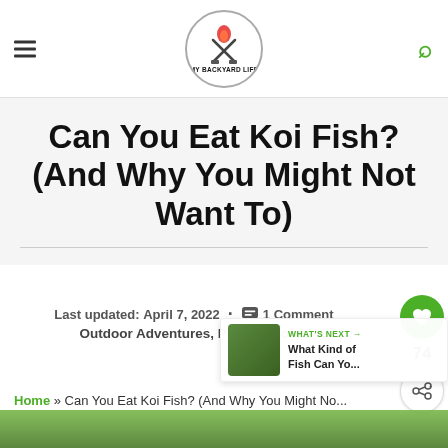My Backyard Life
Can You Eat Koi Fish? (And Why You Might Not Want To)
Last updated: April 7, 2022 · 1 Comment
Outdoor Adventures, Popular Posts
WHAT'S NEXT → What Kind of Fish Can Yo...
Home » Can You Eat Koi Fish? (And Why You Might Not...
[Figure (photo): Green foliage background image at bottom of page]